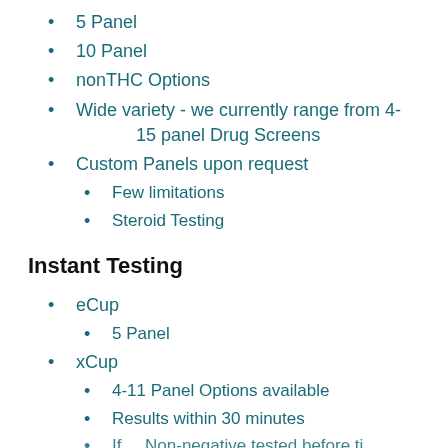5 Panel
10 Panel
nonTHC Options
Wide variety - we currently range from 4-15 panel Drug Screens
Custom Panels upon request
Few limitations
Steroid Testing
Instant Testing
eCup
5 Panel
xCup
4-11 Panel Options available
Results within 30 minutes
If ... Non-negative tested before ti...